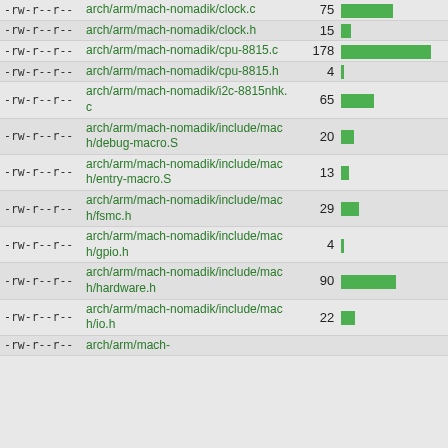| permissions | filepath | count | bar |
| --- | --- | --- | --- |
| -rw-r--r-- | arch/arm/mach-nomadik/clock.c | 75 | bar |
| -rw-r--r-- | arch/arm/mach-nomadik/clock.h | 15 | bar |
| -rw-r--r-- | arch/arm/mach-nomadik/cpu-8815.c | 178 | bar |
| -rw-r--r-- | arch/arm/mach-nomadik/cpu-8815.h | 4 | bar |
| -rw-r--r-- | arch/arm/mach-nomadik/i2c-8815nhk.c | 65 | bar |
| -rw-r--r-- | arch/arm/mach-nomadik/include/mach/debug-macro.S | 20 | bar |
| -rw-r--r-- | arch/arm/mach-nomadik/include/mach/entry-macro.S | 13 | bar |
| -rw-r--r-- | arch/arm/mach-nomadik/include/mach/fsmc.h | 29 | bar |
| -rw-r--r-- | arch/arm/mach-nomadik/include/mach/gpio.h | 4 | bar |
| -rw-r--r-- | arch/arm/mach-nomadik/include/mach/hardware.h | 90 | bar |
| -rw-r--r-- | arch/arm/mach-nomadik/include/mach/io.h | 22 | bar |
| -rw-r--r-- | arch/arm/mach-nomadik/... |  |  |